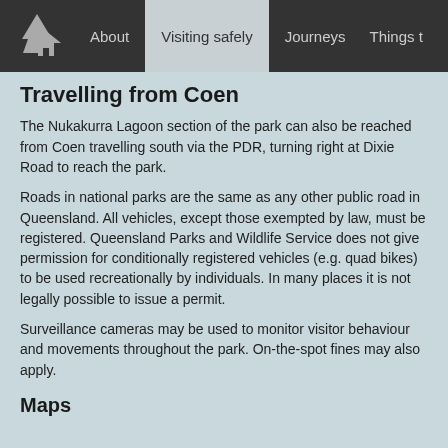About | Visiting safely | Journeys | Things t
Travelling from Coen
The Nukakurra Lagoon section of the park can also be reached from Coen travelling south via the PDR, turning right at Dixie Road to reach the park.
Roads in national parks are the same as any other public road in Queensland. All vehicles, except those exempted by law, must be registered. Queensland Parks and Wildlife Service does not give permission for conditionally registered vehicles (e.g. quad bikes) to be used recreationally by individuals. In many places it is not legally possible to issue a permit.
Surveillance cameras may be used to monitor visitor behaviour and movements throughout the park. On-the-spot fines may also apply.
Maps